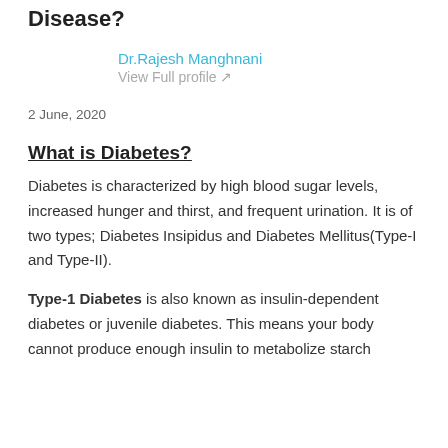Disease?
Dr.Rajesh Manghnani
View Full profile ↗
2 June, 2020
What is Diabetes?
Diabetes is characterized by high blood sugar levels, increased hunger and thirst, and frequent urination. It is of two types; Diabetes Insipidus and Diabetes Mellitus(Type-I and Type-II).
Type-1 Diabetes is also known as insulin-dependent diabetes or juvenile diabetes. This means your body cannot produce enough insulin to metabolize starch